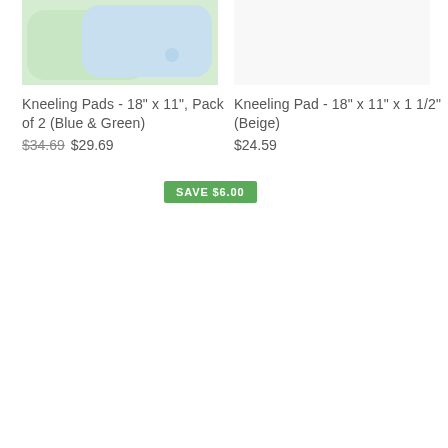[Figure (photo): Product image of kneeling pads in blue and green colors, partially cropped at top]
Kneeling Pads - 18" x 11", Pack of 2 (Blue & Green)
$34.69  $29.69
[Figure (photo): Product image area for single kneeling pad in beige, mostly white/empty]
Kneeling Pad - 18" x 11" x 1 1/2" (Beige)
$24.59
SAVE $6.00